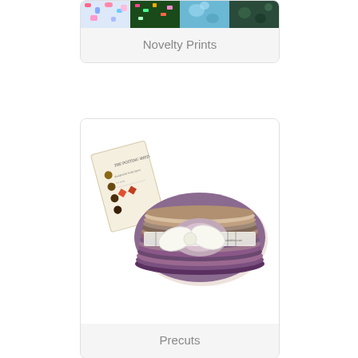[Figure (photo): Top portion of a card showing novelty print fabric swatches including colorful patterns on dark green, black, and teal backgrounds]
Novelty Prints
[Figure (photo): A jelly roll (rolled fabric strips) called 'The Potting Shed' by Holly Taylor for Moda, shown with label card and tied with a measuring tape bow, featuring purple, brown, and earth tone fabrics]
Precuts